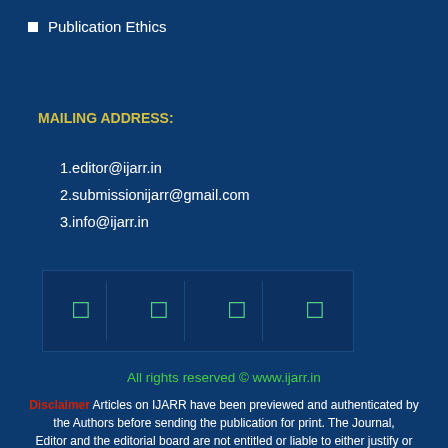Publication Ethics
MAILING ADDRESS:
1.editor@ijarr.in
2.submissionijarr@gmail.com
3.info@ijarr.in
[Figure (other): Social media icon bar with four icon placeholders in a dark blue row]
All rights reserved © www.ijarr.in
Disclaimer Articles on IJARR have been previewed and authenticated by the Authors before sending the publication for print. The Journal, Editor and the editorial board are not entitled or liable to either justify or responsible for inaccurate and misleading data if any. It is the sole responsibility of the Author concerned.